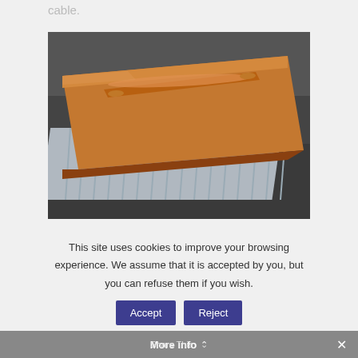cable.
[Figure (photo): A copper-colored rectangular plate with a raised seam/weld line running along its length, resting on a ribbed aluminum or metal surface, placed on a dark granite or metal bench. The plate appears to be a welded or bonded component, possibly related to cable or conductor manufacturing.]
This site uses cookies to improve your browsing experience. We assume that it is accepted by you, but you can refuse them if you wish.
More info  Share This  ×